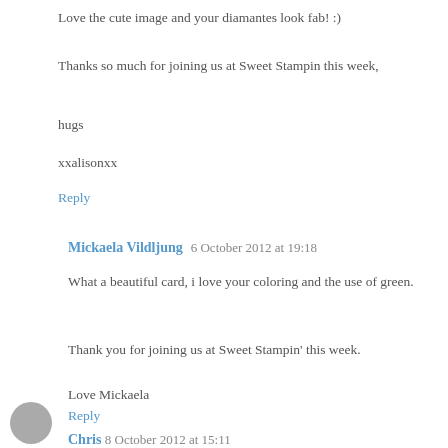Love the cute image and your diamantes look fab! :)
Thanks so much for joining us at Sweet Stampin this week,
hugs
xxalisonxx
Reply
Mickaela Vildljung 6 October 2012 at 19:18
What a beautiful card, i love your coloring and the use of green.
Thank you for joining us at Sweet Stampin' this week.
Love Mickaela
Reply
Chris 8 October 2012 at 15:11